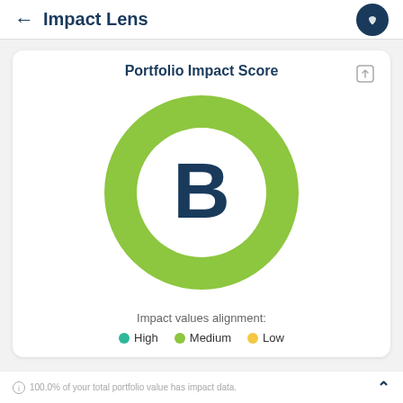Impact Lens
[Figure (donut-chart): A large green donut ring with grade 'B' in dark blue at center. Represents Portfolio Impact Score.]
Impact values alignment:
High   Medium   Low
100.0% of your total portfolio value has impact data.